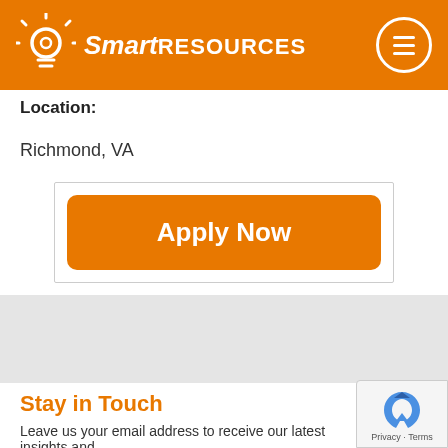[Figure (logo): SmartRESOURCES logo with lightbulb icon on orange header bar, with hamburger menu button (three lines in a circle) on the right]
Location:
Richmond, VA
Apply Now
Stay in Touch
Leave us your email address to receive our latest insights and